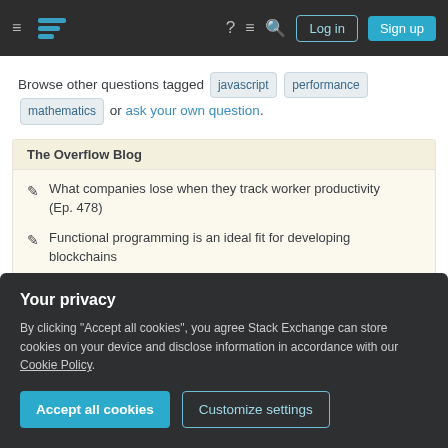Stack Exchange navigation bar with hamburger menu, logo, help, chat, search icons, Log in and Sign up buttons
Browse other questions tagged javascript performance mathematics or ask your own question.
The Overflow Blog
What companies lose when they track worker productivity (Ep. 478)
Functional programming is an ideal fit for developing blockchains
Featured on Meta
Your privacy
By clicking "Accept all cookies", you agree Stack Exchange can store cookies on your device and disclose information in accordance with our Cookie Policy.
Accept all cookies  Customize settings